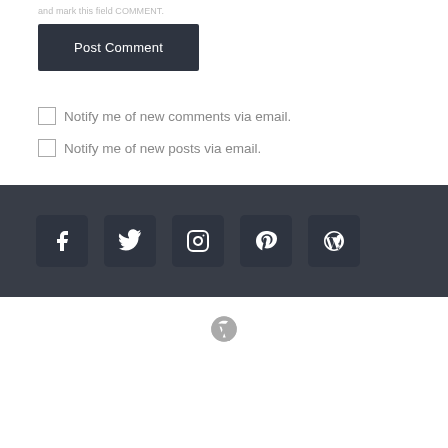and mark this field COMMENT.
Post Comment
Notify me of new comments via email.
Notify me of new posts via email.
[Figure (infographic): Dark footer bar with five social media icon buttons: Facebook (f), Twitter (bird), Instagram (camera), Pinterest (P), WordPress (circle-W)]
[Figure (logo): WordPress logo (circle W) centered at the bottom]